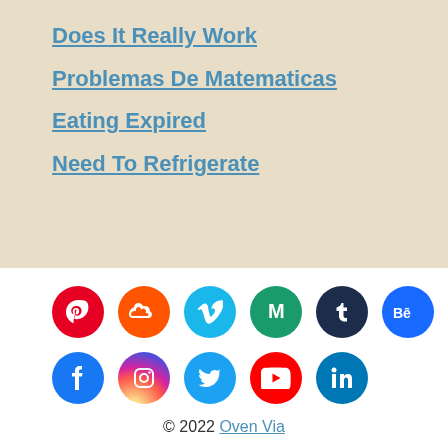Does It Really Work
Problemas De Matematicas
Eating Expired
Need To Refrigerate
[Figure (infographic): Two rows of social media icons: Pinterest, SoundCloud, Vimeo, Medium, Tumblr, Behance, Flickr, Pocket in row 1; Facebook, Instagram, Twitter, YouTube, LinkedIn in row 2]
© 2022 Oven Via